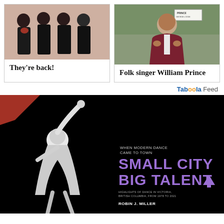[Figure (photo): Group photo of four musicians dressed in black against a peach/warm background]
They're back!
[Figure (photo): Folk singer William Prince in a maroon blazer standing in front of a Prince sign]
Folk singer William Prince
Taboola Feed
[Figure (photo): Black and white photo of a modern dancer with arm raised against black background, overlaid with book cover text: WHEN MODERN DANCE CAME TO TOWN, SMALL CITY BIG TALENT, HIGHLIGHTS OF DANCE IN VICTORIA, BRITISH COLUMBIA, FROM 1978 TO 2021, ROBIN J. MILLER]